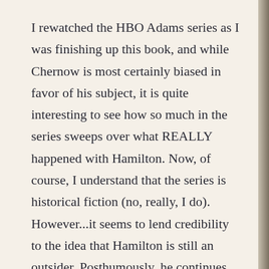I rewatched the HBO Adams series as I was finishing up this book, and while Chernow is most certainly biased in favor of his subject, it is quite interesting to see how so much in the series sweeps over what REALLY happened with Hamilton. Now, of course, I understand that the series is historical fiction (no, really, I do). However...it seems to lend credibility to the idea that Hamilton is still an outsider. Posthumously, he continues to fight for his place in American history.
Excitement